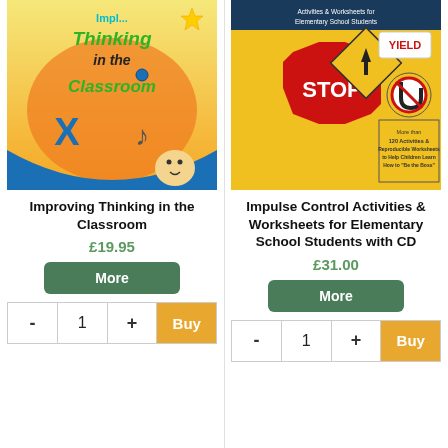[Figure (illustration): Book cover for 'Improving Thinking in the Classroom' with colorful text on orange/yellow background with cartoon characters]
Improving Thinking in the Classroom
£19.95
[Figure (illustration): Book cover for 'Impulse Control Activities & Worksheets for Elementary School Students' featuring traffic signs including STOP sign, YIELD sign]
Impulse Control Activities & Worksheets for Elementary School Students with CD
£31.00